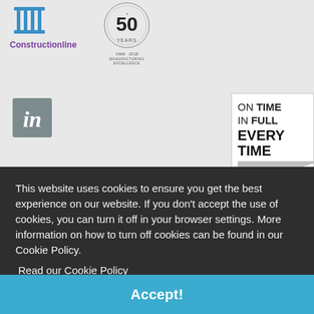[Figure (logo): Constructionline logo with purple pillar icon and text]
[Figure (logo): 50 Years Manufacturing Excellence badge with wreath design, 1968-2018]
[Figure (logo): LinkedIn grey square icon with 'in' text]
[Figure (logo): On Time In Full Every Time badge/award logo]
This website uses cookies to ensure you get the best experience on our website. If you don't accept the use of cookies, you can turn it off in your browser settings. More information on how to turn off cookies can be found in our Cookie Policy.
Read our Cookie Policy
Accept!